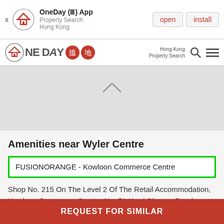[Figure (screenshot): App install banner for OneDay (III) App - Property Search Hong Kong with open and install buttons]
[Figure (logo): OneDay 搵地 Hong Kong Property Search navigation bar logo with search and menu icons]
Amenities near Wyler Centre
FUSIONORANGE - Kowloon Commerce Centre
Shop No. 215 On The Level 2 Of The Retail Accommodation, Kowloon Commerce Centre, No. 51 Kwai Cheong Road,
Distance 490m
REQUEST FOR SIMILAR